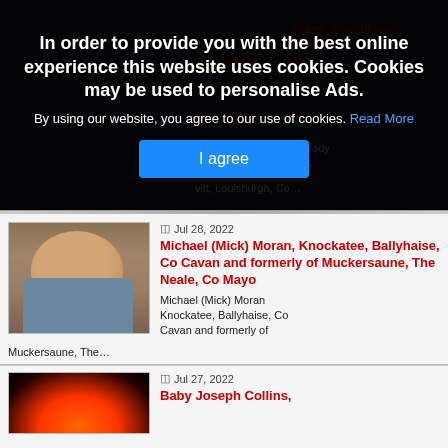[Figure (screenshot): Cookie consent overlay on a website showing obituaries. Dark overlay with bold text asking user to agree to cookie usage, with a blue 'I agree' button. Behind the overlay, partially visible red text shows names and locations.]
In order to provide you with the best online experience this website uses cookies. Cookies may be used to personalise Ads.
By using our website, you agree to our use of cookies. Read More
I agree
[Figure (photo): Portrait photo of Michael (Mick) Moran, a middle-aged man smiling]
Jul 28, 2022
Michael (Mick) Moran, Knockatee, Ballyhaise, Co Cavan and formerly of Muckersaune, The Neale, Co Mayo
Michael (Mick) Moran Knockatee, Ballyhaise, Co Cavan and formerly of Muckersaune, The…
[Figure (photo): Dark image with fire/flame visible at the bottom]
Jul 27, 2022
Baby Joseph Collins,